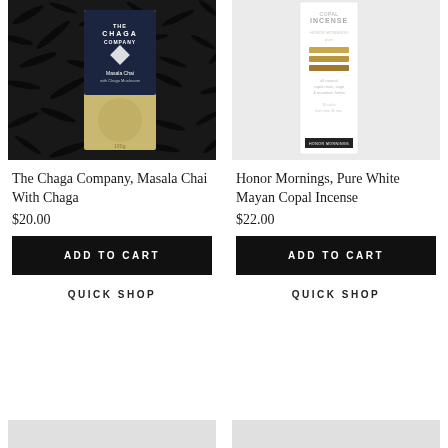[Figure (photo): Product photo of The Chaga Company Masala Chai With Chaga tea package on dark scattered tea leaves background]
[Figure (photo): Product photo of Honor Mornings Pure White Mayan Copal Incense in slim white box on light gray background]
The Chaga Company, Masala Chai With Chaga
$20.00
ADD TO CART
QUICK SHOP
Honor Mornings, Pure White Mayan Copal Incense
$22.00
ADD TO CART
QUICK SHOP